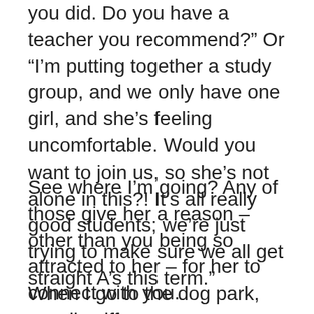you did. Do you have a teacher you recommend?”  Or “I’m putting together a study group, and we only have one girl, and she’s feeling uncomfortable. Would you want to join us, so she’s not alone in this?!  It’s all really good students; we’re just trying to make sure we all get straight A’s this term.”
See where I’m going?  Any of those give her a reason – other than you being so attracted to her – for her to connect with you.
When I go to the dog park, we all sniff